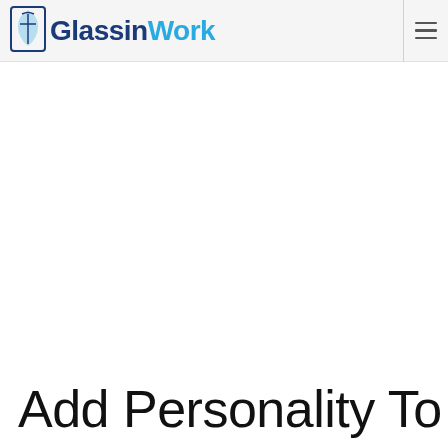GlassinWork
Add Personality To